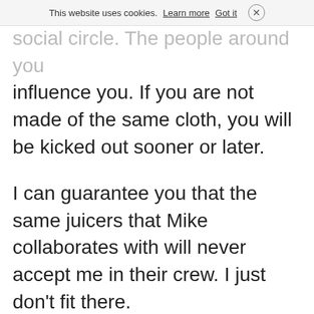This website uses cookies. Learn more  Got it  ×
social circle. The people around you influence you. If you are not made of the same cloth, you will be kicked out sooner or later.
I can guarantee you that the same juicers that Mike collaborates with will never accept me in their crew. I just don't fit there.
This is why I am always suspicious of alleged naturals integrated into the social circle of juicers and shadow pinners.
What is Silent Mike's FFMI?